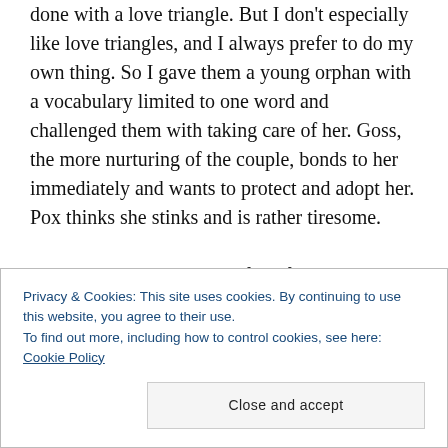done with a love triangle. But I don't especially like love triangles, and I always prefer to do my own thing. So I gave them a young orphan with a vocabulary limited to one word and challenged them with taking care of her. Goss, the more nurturing of the couple, bonds to her immediately and wants to protect and adopt her. Pox thinks she stinks and is rather tiresome.

So that's the main source of conflict between the lovers in my story. One wants to nest, but the
Privacy & Cookies: This site uses cookies. By continuing to use this website, you agree to their use.
To find out more, including how to control cookies, see here: Cookie Policy
Close and accept